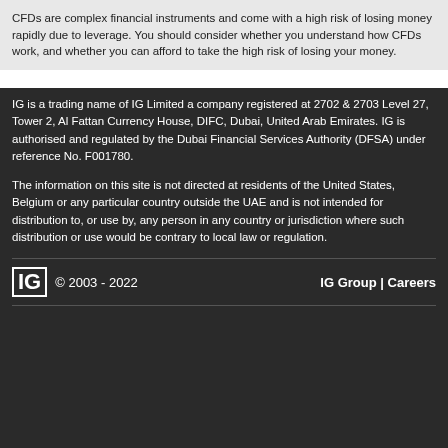CFDs are complex financial instruments and come with a high risk of losing money rapidly due to leverage. You should consider whether you understand how CFDs work, and whether you can afford to take the high risk of losing your money.
IG is a trading name of IG Limited a company registered at 2702 & 2703 Level 27, Tower 2, Al Fattan Currency House, DIFC, Dubai, United Arab Emirates. IG is authorised and regulated by the Dubai Financial Services Authority (DFSA) under reference No. F001780.
The information on this site is not directed at residents of the United States, Belgium or any particular country outside the UAE and is not intended for distribution to, or use by, any person in any country or jurisdiction where such distribution or use would be contrary to local law or regulation.
IG © 2003 - 2022  IG Group | Careers